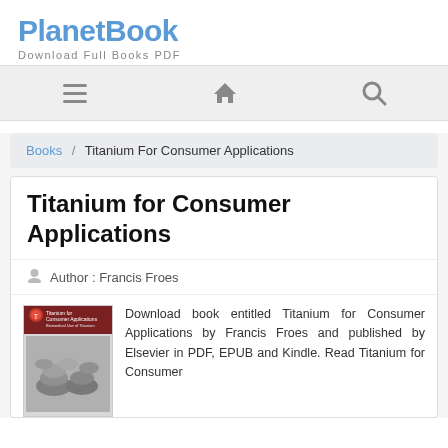PlanetBook
Download Full Books PDF
[Figure (screenshot): Navigation bar with hamburger menu, home icon, and search icon]
Books / Titanium For Consumer Applications
Titanium for Consumer Applications
Author : Francis Froes
[Figure (photo): Book cover of Titanium for Consumer Applications showing small titanium parts]
Download book entitled Titanium for Consumer Applications by Francis Froes and published by Elsevier in PDF, EPUB and Kindle. Read Titanium for Consumer